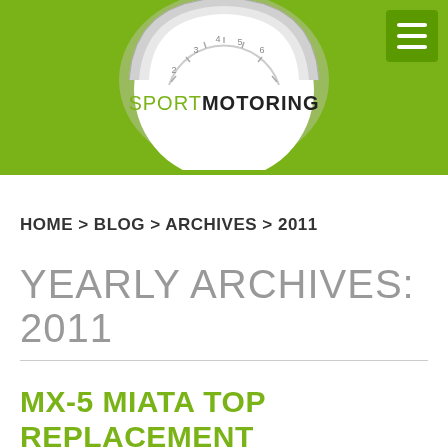[Figure (logo): SportMotoring website header banner with green background, speedometer/gauge logo in white circle at center top, and hamburger menu icon in darker green square at top right. The logo shows 'SPORTMOTORING' text with a partial speedometer graphic above it.]
HOME > BLOG > ARCHIVES > 2011
YEARLY ARCHIVES: 2011
MX-5 MIATA TOP REPLACEMENT